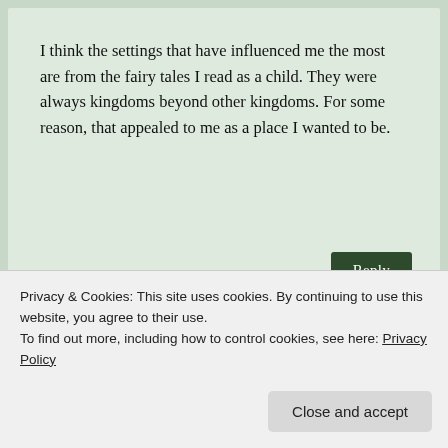I think the settings that have influenced me the most are from the fairy tales I read as a child. They were always kingdoms beyond other kingdoms. For some reason, that appealed to me as a place I wanted to be.
january 18, 2013, 10:09 pm
Reply
lola r
I think Daughter of Smoke and Bone really did an awesome job of making you feel like you are in Prague. I never have really thought
Privacy & Cookies: This site uses cookies. By continuing to use this website, you agree to their use.
To find out more, including how to control cookies, see here: Privacy Policy
Close and accept